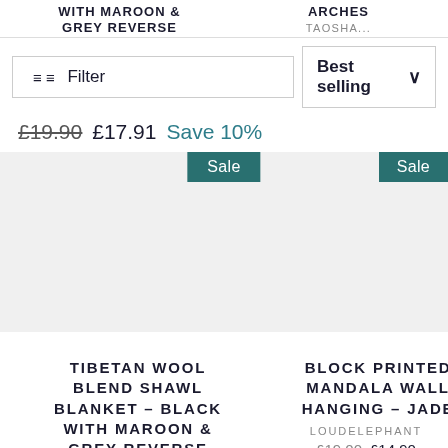WITH MAROON & GREY REVERSE
ARCHES TAOSHA...
Filter
Best selling
£19.90  £17.91  Save 10%
Sale
Sale
[Figure (photo): Product image placeholder left]
[Figure (photo): Product image placeholder right]
TIBETAN WOOL BLEND SHAWL BLANKET - BLACK WITH MAROON & GREY REVERSE
BLOCK PRINTED MANDALA WALL HANGING - JADE
LOUDELEPHANT
£19.90  £14.90